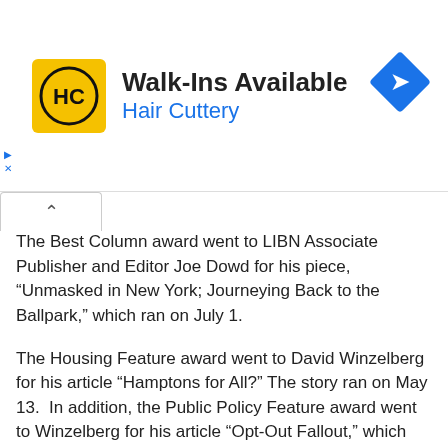[Figure (illustration): Hair Cuttery advertisement banner with yellow square logo showing HC initials, text 'Walk-Ins Available' and 'Hair Cuttery' in blue, and a blue diamond-shaped direction icon on the right]
The Best Column award went to LIBN Associate Publisher and Editor Joe Dowd for his piece, “Unmasked in New York; Journeying Back to the Ballpark,” which ran on July 1.
The Housing Feature award went to David Winzelberg for his article “Hamptons for All?” The story ran on May 13.  In addition, the Public Policy Feature award went to Winzelberg for his article “Opt-Out Fallout,” which ran Dec. 10.
The Public Service Feature award went to Adina Genn for her article, “The Resources You Need.” The story ran on